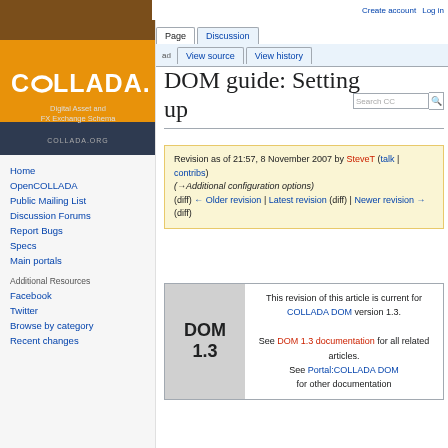[Figure (logo): COLLADA logo with orange background, dark navy bottom section, white text 'COLLADA.' in bold, subtitle 'Digital Asset and FX Exchange Schema', and URL 'COLLADA.ORG']
Home
OpenCOLLADA
Public Mailing List
Discussion Forums
Report Bugs
Specs
Main portals
Additional Resources
Facebook
Twitter
Browse by category
Recent changes
Create account  Log in
DOM guide: Setting up
Revision as of 21:57, 8 November 2007 by SteveT (talk | contribs) (→Additional configuration options) (diff) ← Older revision | Latest revision (diff) | Newer revision → (diff)
This revision of this article is current for COLLADA DOM version 1.3. See DOM 1.3 documentation for all related articles. See Portal:COLLADA DOM for other documentation